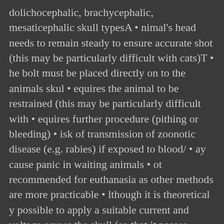dolichocephalic, brachycephalic, mesaticephalic skull typesA • nimal's head needs to remain steady to ensure accurate shot (this may be particularly difficult with cats)T • he bolt must be placed directly on to the animals skul • equires the animal to be restrained (this may be particularly difficult with • equires further procedure (pithing or bleeding) • isk of transmission of zoonotic disease (e.g. rabies) if exposed to blood/ • ay cause panic in waiting animals • ot recommended for euthanasia as other methods are more practicable • lthough it is theoretical y possible to apply a suitable current and voltage across the skull (so that it passes through the animal's brain) by trained Physical method personnel using suitable electrodes, it is WSPA's experience that such conditions are never achieved in practice • hole body exposure to the electric current in an electrocution chamber is • inful and inhumane under practical conditions • ngerous to personnel • ot acceptable for euthanasia • Slow acting•